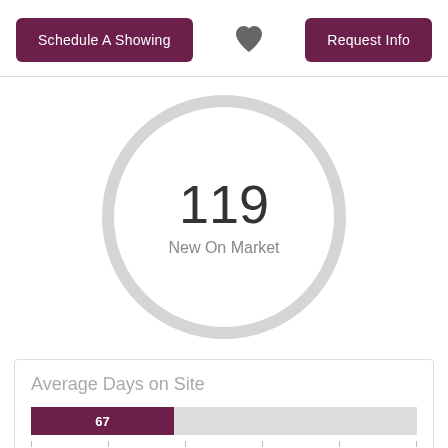Schedule A Showing | ♥ | Request Info
[Figure (other): Large circle with '119 New On Market' displayed inside]
119
New On Market
Average Days on Site
[Figure (bar-chart): Average Days on Site]